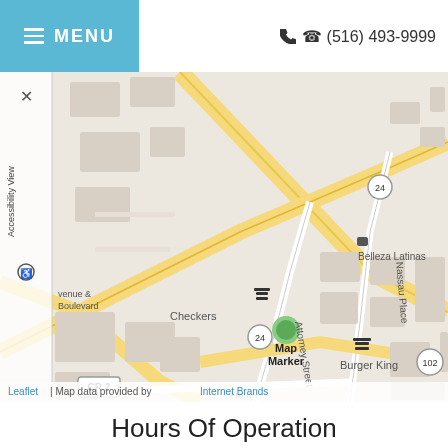MENU | (516) 493-9999
[Figure (map): Street map showing location near Fulton Avenue, with Map Marker placed near Checkers and Burger King. Surrounding streets include Nassau Place, Attorney Street, CR 2 route marker, route 24 and route 102. Nearby landmarks include Belleza Latinas and Burger King.]
Leaflet | Map data provided by Internet Brands
Hours Of Operation